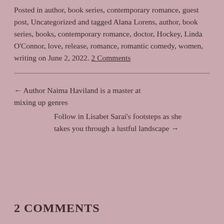Posted in author, book series, contemporary romance, guest post, Uncategorized and tagged Alana Lorens, author, book series, books, contemporary romance, doctor, Hockey, Linda O'Connor, love, release, romance, romantic comedy, women, writing on June 2, 2022. 2 Comments
← Author Naima Haviland is a master at mixing up genres
Follow in Lisabet Sarai's footsteps as she takes you through a lustful landscape →
2 COMMENTS